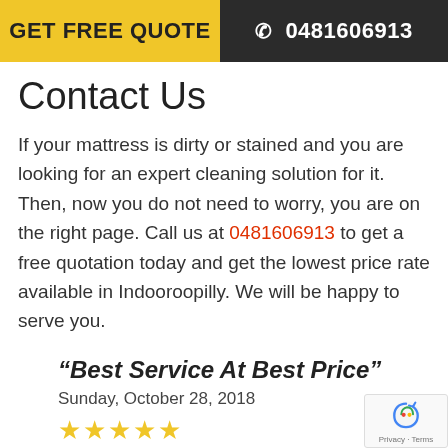GET FREE QUOTE   ☎ 0481606913
Contact Us
If your mattress is dirty or stained and you are looking for an expert cleaning solution for it. Then, now you do not need to worry, you are on the right page. Call us at 0481606913 to get a free quotation today and get the lowest price rate available in Indooroopilly. We will be happy to serve you.
“Best Service At Best Price”
Sunday, October 28, 2018
★★★★★
I booked Peters Cleaning Services to clean m…